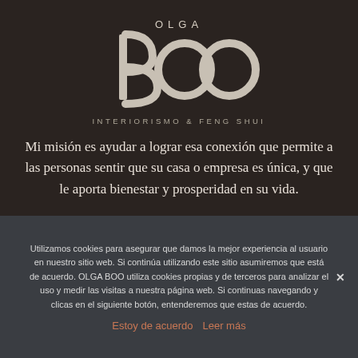[Figure (logo): OLGA BOO Interiorismo & Feng Shui logo — stylized B and two circles forming the letters B-O-O in white/silver on dark background, with text OLGA above and INTERIORISMO & FENG SHUI below]
Mi misión es ayudar a lograr esa conexión que permite a las personas sentir que su casa o empresa es única, y que le aporta bienestar y prosperidad en su vida.
Utilizamos cookies para asegurar que damos la mejor experiencia al usuario en nuestro sitio web. Si continúa utilizando este sitio asumiremos que está de acuerdo. OLGA BOO utiliza cookies propias y de terceros para analizar el uso y medir las visitas a nuestra página web. Si continuas navegando y clicas en el siguiente botón, entenderemos que estas de acuerdo.
Estoy de acuerdo   Leer más